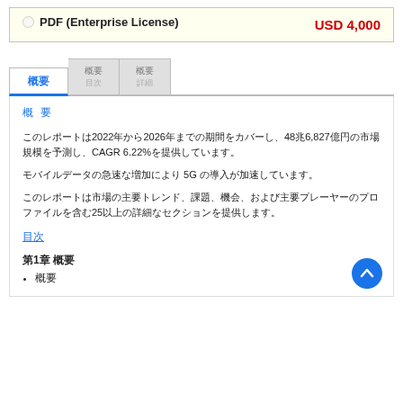PDF (Enterprise License)  USD 4,000
Tab navigation with active tab and two inactive tabs
概要
このレポートは2022年から2026年までの期間をカバーし、48兆6,827億円の市場規模を予測し、CAGR 6.22%を提供しています。
モバイルデータの急速な増加により 5G の導入が加速しています。
このレポートは市場の主要トレンド、課題、機会、および主要プレーヤーのプロファイルを含む25以上の詳細なセクションを提供します。
目次
第1章 概要
概要